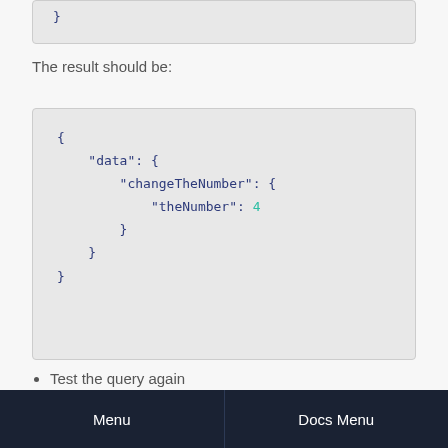[Figure (screenshot): Code snippet showing closing brace of a JSON/code block]
The result should be:
[Figure (screenshot): Code block showing JSON result: { "data": { "changeTheNumber": { "theNumber": 4 } } }]
Test the query again